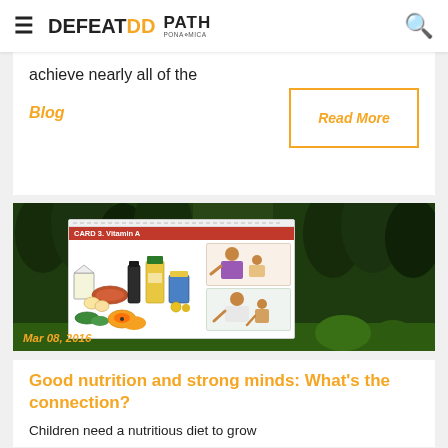DEFEATDD | PATH — navigation bar with hamburger menu and search icon
achieve nearly all of the
Blog
Read More
[Figure (photo): Nutrition education flipchart card showing Vitamin A food sources (eggs, liver, oil, vegetables, fruits) and illustrations of a mother feeding a child, set against a dark forest background. Date label: Mar 08, 2016]
Mar 08, 2016
Good nutrition and strong minds: What's the connection?
Children need a nutritious diet to grow healthy and strong. If children don't